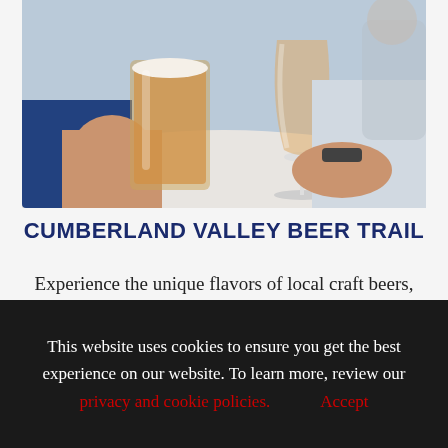[Figure (photo): Two people clinking drinks — one holding a pint glass of orange craft beer, the other holding a stemmed wine glass of rosé/amber liquid, over a white marble table surface.]
CUMBERLAND VALLEY BEER TRAIL
Experience the unique flavors of local craft beers, wines, ciders and spirits along the Cumberland Valley Beer Trail. Beer Trail participants close to the Fairgrounds
This website uses cookies to ensure you get the best experience on our website. To learn more, review our privacy and cookie policies.  Accept